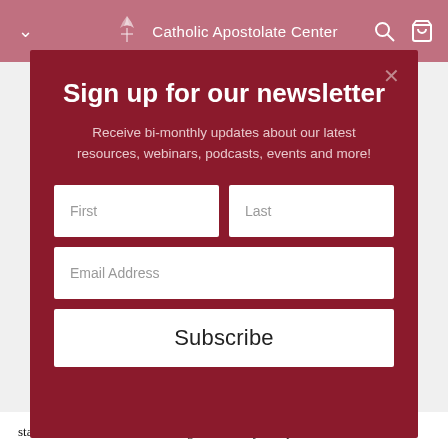Catholic Apostolate Center
Sign up for our newsletter
Receive bi-monthly updates about our latest resources, webinars, podcasts, events and more!
First
Last
Email Address
Subscribe
star. Let us take the risk of setting out on our journey closer to